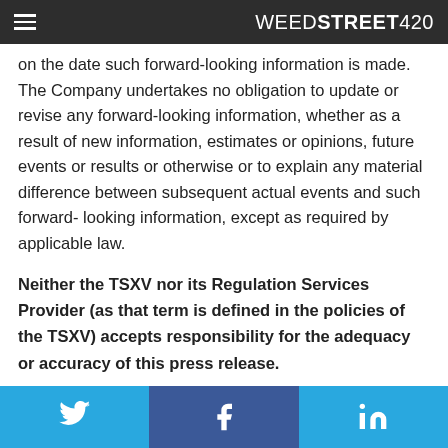WEEDSTREET420
on the date such forward-looking information is made. The Company undertakes no obligation to update or revise any forward-looking information, whether as a result of new information, estimates or opinions, future events or results or otherwise or to explain any material difference between subsequent actual events and such forward- looking information, except as required by applicable law.
Neither the TSXV nor its Regulation Services Provider (as that term is defined in the policies of the TSXV) accepts responsibility for the adequacy or accuracy of this press release.
Social media icons: Twitter, Facebook, LinkedIn